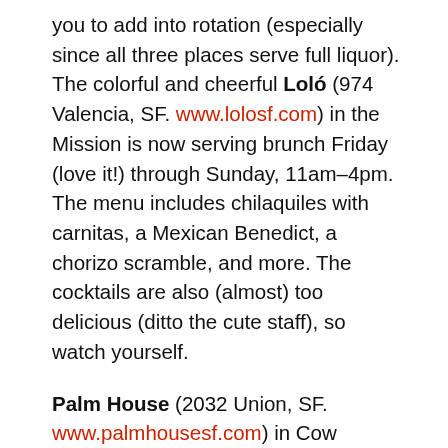you to add into rotation (especially since all three places serve full liquor). The colorful and cheerful Loló (974 Valencia, SF. www.lolosf.com) in the Mission is now serving brunch Friday (love it!) through Sunday, 11am–4pm. The menu includes chilaquiles with carnitas, a Mexican Benedict, a chorizo scramble, and more. The cocktails are also (almost) too delicious (ditto the cute staff), so watch yourself.
Palm House (2032 Union, SF. www.palmhousesf.com) in Cow Hollow is serving weekend brunch 10:30am–2:30pm. Get into an island Caribbean vibe with tropical breakfasts from around the world, including huevos rancheros; fried eggs revoltillo with plantains, rice, beans, and Puerto Rican spices;